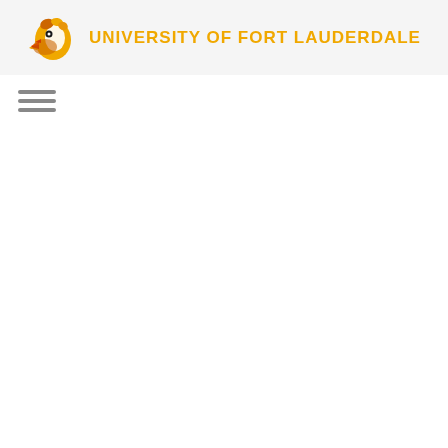[Figure (logo): University of Fort Lauderdale logo with eagle mascot and university name in gold text]
[Figure (other): Hamburger menu icon with three horizontal gray lines]